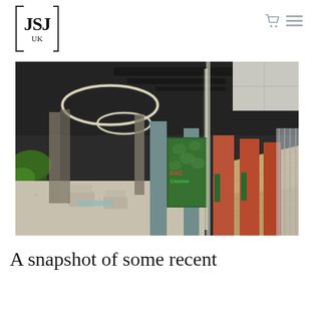JSJ UK
[Figure (photo): Interior of a modern office or commercial space showing a lounge area on the left with seating and plants, a green plant wall with neon signage in the center background, circular hanging pendant lights on the dark ceiling, and a long corridor on the right with orange partition walls and glass-paneled offices. The floor is polished terrazzo.]
A snapshot of some recent